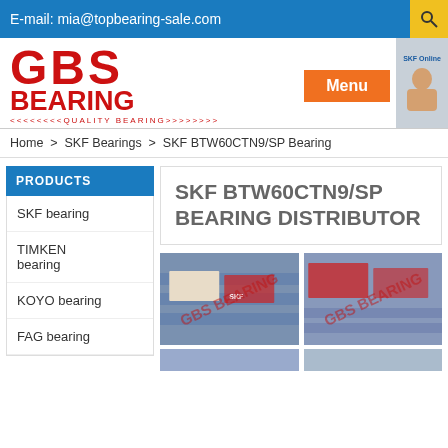E-mail: mia@topbearing-sale.com
[Figure (logo): GBS Bearing logo with red text and quality bearing tagline]
Menu
Home > SKF Bearings > SKF BTW60CTN9/SP Bearing
PRODUCTS
SKF bearing
TIMKEN bearing
KOYO bearing
FAG bearing
SKF BTW60CTN9/SP BEARING DISTRIBUTOR
[Figure (photo): Two images of SKF bearing boxes on warehouse shelves with GBS Bearing watermark]
[Figure (photo): Bottom row partial images of bearing products]